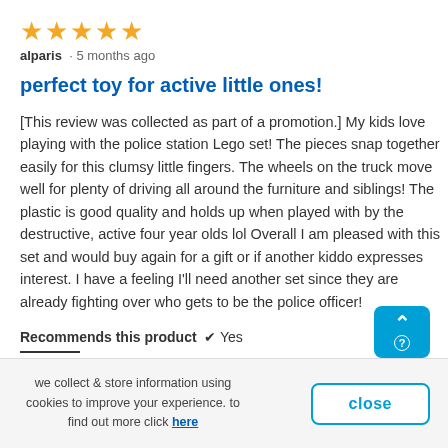[Figure (other): Five gold star rating icons]
alparis · 5 months ago
perfect toy for active little ones!
[This review was collected as part of a promotion.] My kids love playing with the police station Lego set! The pieces snap together easily for this clumsy little fingers. The wheels on the truck move well for plenty of driving all around the furniture and siblings! The plastic is good quality and holds up when played with by the destructive, active four year olds lol Overall I am pleased with this set and would buy again for a gift or if another kiddo expresses interest. I have a feeling I'll need another set since they are already fighting over who gets to be the police officer!
Recommends this product ✔ Yes
we collect & store information using cookies to improve your experience. to find out more click here
close